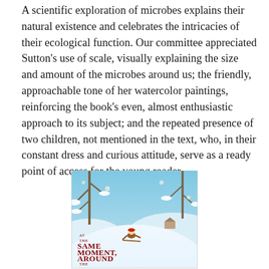A scientific exploration of microbes explains their natural existence and celebrates the intricacies of their ecological function. Our committee appreciated Sutton's use of scale, visually explaining the size and amount of the microbes around us; the friendly, approachable tone of her watercolor paintings, reinforcing the book's even, almost enthusiastic approach to its subject; and the repeated presence of two children, not mentioned in the text, who, in their constant dress and curious attitude, serve as a ready point of access for the young reader.
[Figure (illustration): Book cover of 'At the Same Moment, Around the World' showing a winter scene with a child sledding down a snowy hill, bare trees with snow, and small figures in the background. Red serif text on the cover reads: AT THE SAME MOMENT, AROUND THE WORLD.]